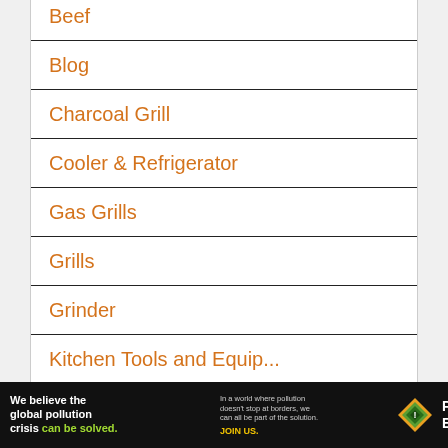Beef
Blog
Charcoal Grill
Cooler & Refrigerator
Gas Grills
Grills
Grinder
Kitchen Tools and Equip...
[Figure (infographic): Pure Earth advertisement banner: 'We believe the global pollution crisis can be solved. In a world where pollution doesn't stop at borders, we can all be part of the solution. JOIN US.' with Pure Earth logo diamond shape.]